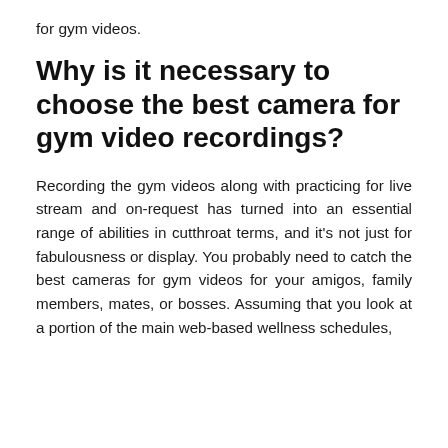for gym videos.
Why is it necessary to choose the best camera for gym video recordings?
Recording the gym videos along with practicing for live stream and on-request has turned into an essential range of abilities in cutthroat terms, and it’s not just for fabulousness or display. You probably need to catch the best cameras for gym videos for your amigos, family members, mates, or bosses. Assuming that you look at a portion of the main web-based wellness schedules,